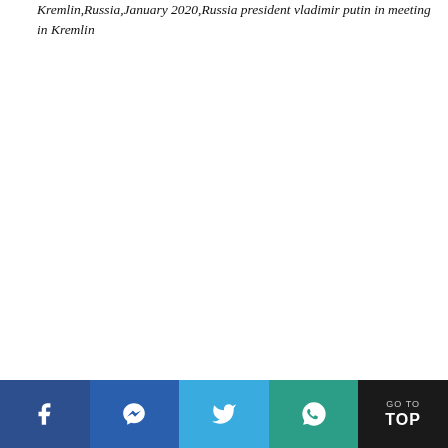Kremlin,Russia,January 2020,Russia president vladimir putin in meeting in Kremlin
[Figure (other): Social media share bar with Facebook, Messenger, Twitter, WhatsApp buttons and a Go To Top button]